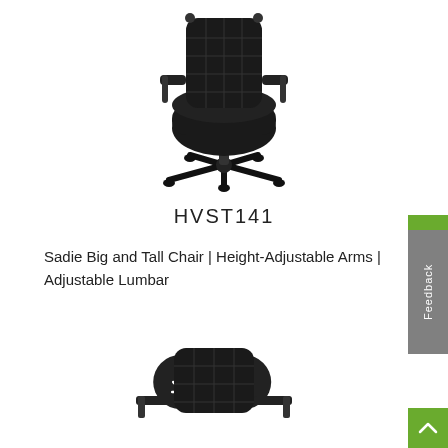[Figure (photo): Black office chair (Sadie Big and Tall) viewed from above/front, showing mesh back, adjustable arms, and five-star caster base]
HVST141
Sadie Big and Tall Chair | Height-Adjustable Arms | Adjustable Lumbar
[Figure (illustration): Two circular black buttons: a download arrow button and a checkmark button]
[Figure (photo): Bottom portion of a second black office chair, partially visible at page bottom]
[Figure (illustration): Green feedback tab on right side and green back-to-top arrow button at bottom right]